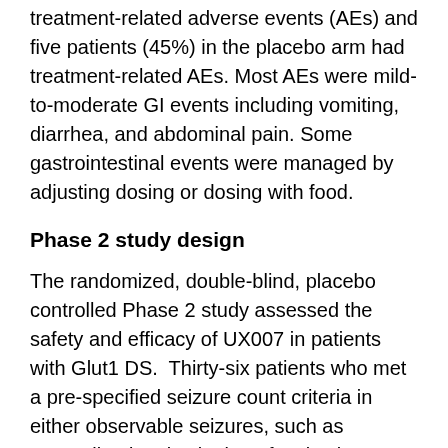treatment-related adverse events (AEs) and five patients (45%) in the placebo arm had treatment-related AEs. Most AEs were mild-to-moderate GI events including vomiting, diarrhea, and abdominal pain. Some gastrointestinal events were managed by adjusting dosing or dosing with food.
Phase 2 study design
The randomized, double-blind, placebo controlled Phase 2 study assessed the safety and efficacy of UX007 in patients with Glut1 DS.  Thirty-six patients who met a pre-specified seizure count criteria in either observable seizures, such as generalized tonic-clonic or focal seizures, or absence seizures were randomized in a 3:1 ratio to either UX007 or placebo.  Dosing was initiated over a 2-week titration period until the patient reached the target dose of 35% of total daily calories from UX007. A daily seizure diary was used to capture observable seizures and an